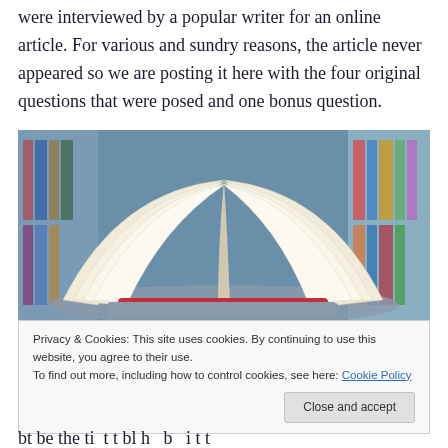were interviewed by a popular writer for an online article. For various and sundry reasons, the article never appeared so we are posting it here with the four original questions that were posed and one bonus question.
[Figure (photo): Close-up photograph of an open book with pages fanning out, set against a blurred background of colorful bookshelves.]
Privacy & Cookies: This site uses cookies. By continuing to use this website, you agree to their use. To find out more, including how to control cookies, see here: Cookie Policy
bt be the ti t t bl h b i t t